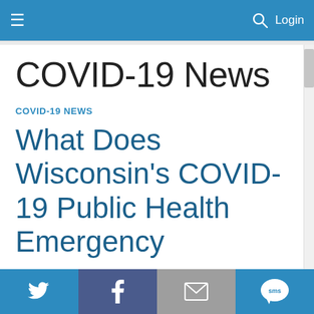≡   🔍 Login
COVID-19 News
COVID-19 NEWS
What Does Wisconsin's COVID-19 Public Health Emergency
Twitter  Facebook  Email  SMS